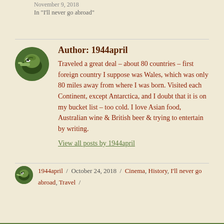November 9, 2018
In "I'll never go abroad"
Author: 1944april
Traveled a great deal – about 80 countries – first foreign country I suppose was Wales, which was only 80 miles away from where I was born. Visited each Continent, except Antarctica, and I doubt that it is on my bucket list – too cold. I love Asian food, Australian wine & British beer & trying to entertain by writing.
View all posts by 1944april
1944april / October 24, 2018 / Cinema, History, I'll never go abroad, Travel /